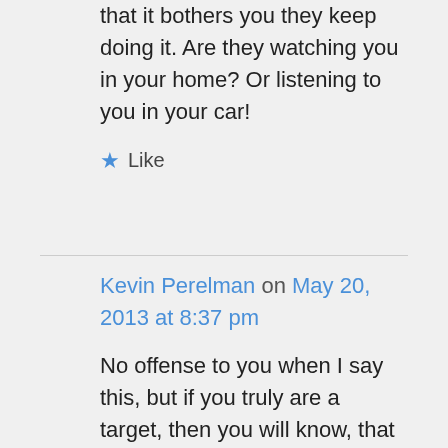that it bothers you they keep doing it. Are they watching you in your home? Or listening to you in your car!
★ Like
Kevin Perelman on May 20, 2013 at 8:37 pm
No offense to you when I say this, but if you truly are a target, then you will know, that 1000 people per day zapping you with a cattle prod whenever you do something they don't like, like getting coffee, or